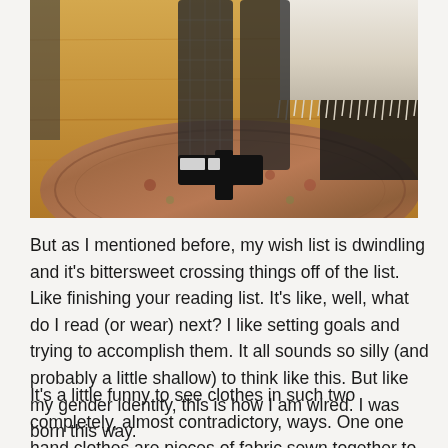[Figure (photo): Close-up photo of legs wearing fishnet stockings and black high heels with white accents, standing on an ornate patterned rug on a wood floor, with a white fringed blanket and dark furniture visible.]
But as I mentioned before, my wish list is dwindling and it's bittersweet crossing things off of the list.  Like finishing your reading list.  It's like, well, what do I read (or wear) next?  I like setting goals and trying to accomplish them.  It all sounds so silly (and probably a little shallow) to think like this.  But like my gender identity, this is how I am wired.  I was born this way.
It's a little funny to see clothes in such two completely, almost contradictory, ways.  One one hand clothes are pieces of fabric sewn together to cover our skin.  On the